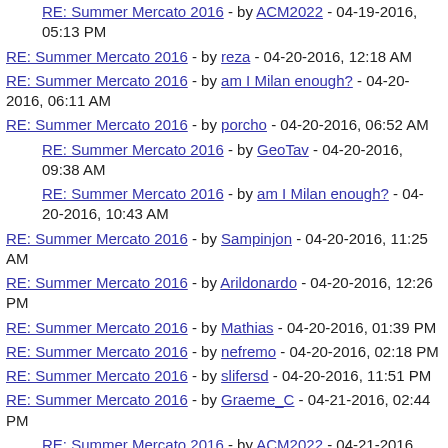RE: Summer Mercato 2016 - by ACM2022 - 04-19-2016, 05:13 PM
RE: Summer Mercato 2016 - by reza - 04-20-2016, 12:18 AM
RE: Summer Mercato 2016 - by am I Milan enough? - 04-20-2016, 06:11 AM
RE: Summer Mercato 2016 - by porcho - 04-20-2016, 06:52 AM
RE: Summer Mercato 2016 - by GeoTav - 04-20-2016, 09:38 AM
RE: Summer Mercato 2016 - by am I Milan enough? - 04-20-2016, 10:43 AM
RE: Summer Mercato 2016 - by Sampinjon - 04-20-2016, 11:25 AM
RE: Summer Mercato 2016 - by Arildonardo - 04-20-2016, 12:26 PM
RE: Summer Mercato 2016 - by Mathias - 04-20-2016, 01:39 PM
RE: Summer Mercato 2016 - by nefremo - 04-20-2016, 02:18 PM
RE: Summer Mercato 2016 - by slifersd - 04-20-2016, 11:51 PM
RE: Summer Mercato 2016 - by Graeme_C - 04-21-2016, 02:44 PM
RE: Summer Mercato 2016 - by ACM2022 - 04-21-2016, 08:51 PM
RE: Summer Mercato 2016 - by am I Milan enough? - 04-22-...